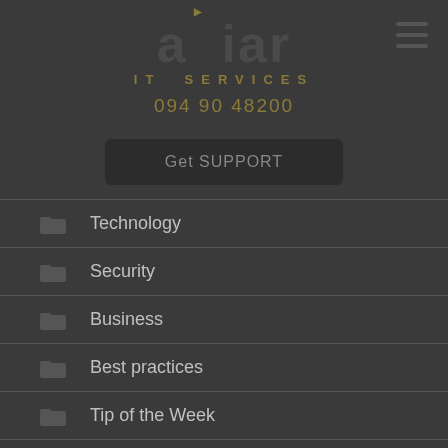[Figure (logo): Aniar IT Services logo with stylized text and golden 'IT SERVICES' subtitle]
094 90 48200
Get SUPPORT
Technology
Security
Business
Best practices
Tip of the Week
How to
Cloud